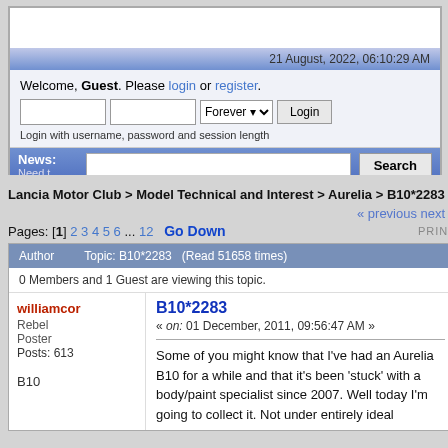21 August, 2022, 06:10:29 AM
Welcome, Guest. Please login or register.
Login with username, password and session length
News: Need t...
HOME  HELP  SEARCH  CALENDAR  REGISTER
Lancia Motor Club > Model Technical and Interest > Aurelia > B10*2283
« previous next »
Pages: [1] 2 3 4 5 6 ... 12   Go Down
| Author | Topic: B10*2283  (Read 51658 times) |
| --- | --- |
| 0 Members and 1 Guest are viewing this topic. |
williamcor
Rebel Poster
Posts: 613

B10
B10*2283
« on: 01 December, 2011, 09:56:47 AM »
Some of you might know that I've had an Aurelia B10 for a while and that it's been 'stuck' with a body/paint specialist since 2007.  Well today I'm going to collect it.  Not under entirely ideal